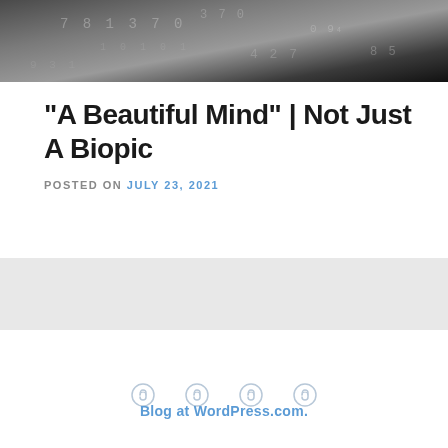[Figure (photo): Dark background image with faint numbers and digits visible, suggesting a technology or data theme]
“A Beautiful Mind” | Not Just A Biopic
POSTED ON JULY 23, 2021
[Figure (other): Light gray bar / widget area placeholder]
[Figure (other): Four link/attachment icons displayed horizontally]
Blog at WordPress.com.